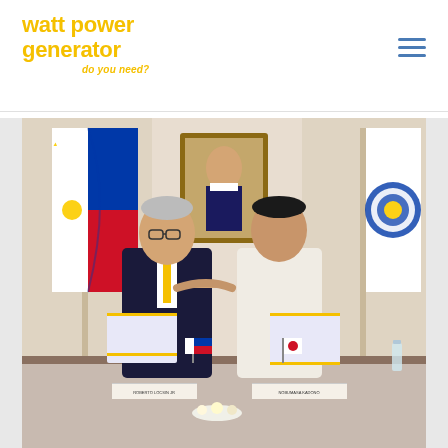[Figure (logo): Watt Power Generator logo with text 'watt power generator do you need?' in yellow/gold color]
[Figure (photo): Two men shaking hands at a signing ceremony. Both holding documents/folders. Philippine flag on the left, Department of Foreign Affairs flag on the right. A portrait painting hangs on the wall behind them. Name placards on the table: ROBERTO LOCSIN JR and NOBUMASA KADONO. Small Philippine and Japanese flags on the table.]